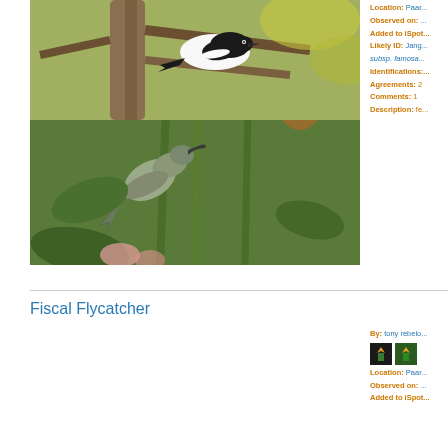[Figure (photo): Sunbird perched among orange flowers (Kniphofia/torch lily type) with green stems and leaves]
Location: Paar...
Observed on: ...
Added to iSpot...
Likely ID: Jang... subsp. famosa...
Identifications: ...
Agreements: 2
Comments: 1
Description: fe...
Fiscal Flycatcher
[Figure (photo): Fiscal Flycatcher black and white bird perched in tree branches]
By: tony rebelo...
Location: Paar...
Observed on: ...
Added to iSpot...